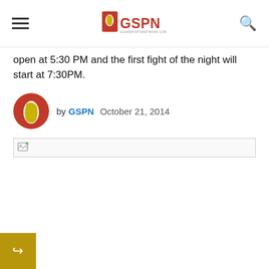GSPN - Guam Sports Network
open at 5:30 PM and the first fight of the night will start at 7:30PM.
by GSPN  October 21, 2014
[Figure (photo): Broken image placeholder]
[Figure (other): Share/reply button icon in gold square at bottom left]